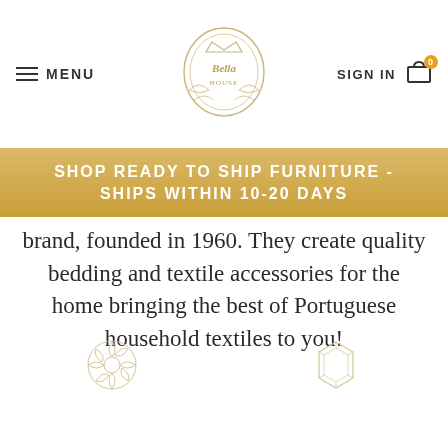MENU | The Bella House logo | SIGN IN [cart: 0]
SHOP READY TO SHIP FURNITURE - SHIPS WITHIN 10-20 DAYS
brand, founded in 1960. They create quality bedding and textile accessories for the home bringing the best of Portuguese household textiles to you!
[Figure (illustration): Rose/flower decorative icon in light gold outline]
A Way of Living
Bovi is a premium European home-textiles brand founded in 1960 by Vaz da Costa, a renowned and state of the art finishing plant in Guimarães,
[Figure (illustration): Geometric octagon decorative icon in light gold outline]
High Quality Textiles
This brand is known for a high quality range of home textiles with many products for the perfect bedroom.